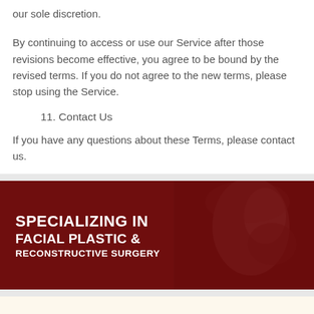our sole discretion.
By continuing to access or use our Service after those revisions become effective, you agree to be bound by the revised terms. If you do not agree to the new terms, please stop using the Service.
11. Contact Us
If you have any questions about these Terms, please contact us.
[Figure (illustration): Dark red banner with a woman's face partially visible on the right side, overlaid with text 'SPECIALIZING IN FACIAL PLASTIC & RECONSTRUCTIVE SURGERY' in white bold letters.]
Related Pages